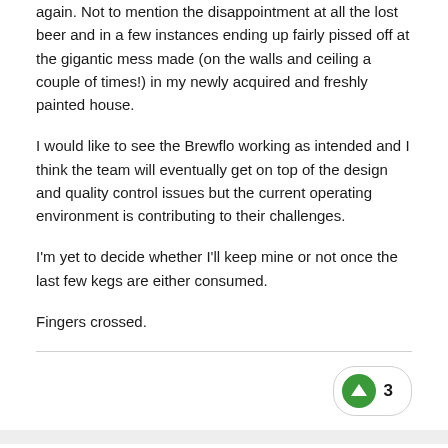again. Not to mention the disappointment at all the lost beer and in a few instances ending up fairly pissed off at the gigantic mess made (on the walls and ceiling a couple of times!) in my newly acquired and freshly painted house.
I would like to see the Brewflo working as intended and I think the team will eventually get on top of the design and quality control issues but the current operating environment is contributing to their challenges.
I'm yet to decide whether I'll keep mine or not once the last few kegs are either consumed.
Fingers crossed.
Dustin Frothman
Posted March 1